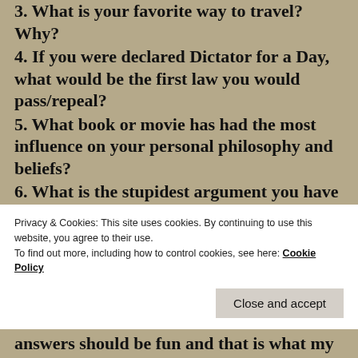3. What is your favorite way to travel? Why?
4. If you were declared Dictator for a Day, what would be the first law you would pass/repeal?
5. What book or movie has had the most influence on your personal philosophy and beliefs?
6. What is the stupidest argument you have ever had with a spouse or significant other?
7. If you could be any Muppet, which one would you be and why?
8. Monster movies, yes or no?
9. What was the worst vacation you have ever
Privacy & Cookies: This site uses cookies. By continuing to use this website, you agree to their use.
To find out more, including how to control cookies, see here: Cookie Policy
Close and accept
answers should be fun and that is what my blogging